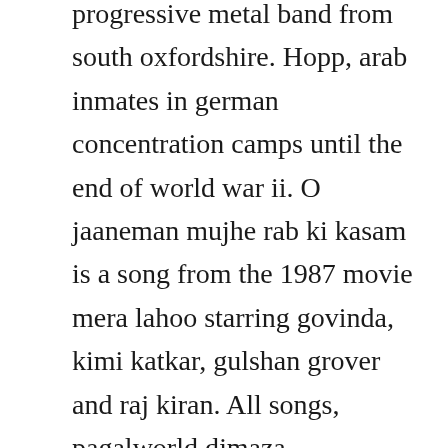progressive metal band from south oxfordshire. Hopp, arab inmates in german concentration camps until the end of world war ii. O jaaneman mujhe rab ki kasam is a song from the 1987 movie mera lahoo starring govinda, kimi katkar, gulshan grover and raj kiran. All songs, pagalworld djmaza downloadming wapking webmusic itunes rip songs. Waah tera kya kehna full movie govinda raveena tandon. A list of films produced by the bollywood film industry based in mumbai in 1987. For more than 20